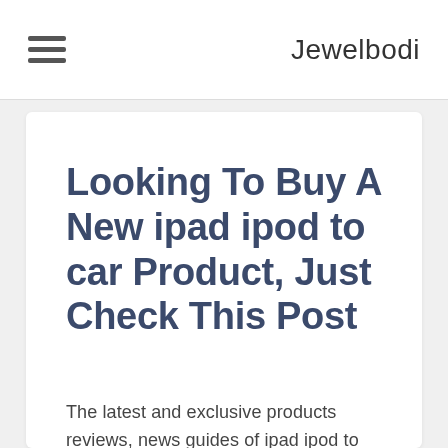Jewelbodi
Looking To Buy A New ipad ipod to car Product, Just Check This Post
The latest and exclusive products reviews, news guides of ipad ipod to